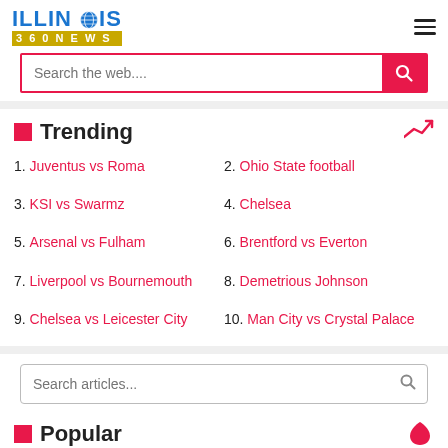ILLINOIS 360NEWS
[Figure (screenshot): Search bar with pink/red border and search button labeled 'Search the web...']
Trending
1. Juventus vs Roma
2. Ohio State football
3. KSI vs Swarmz
4. Chelsea
5. Arsenal vs Fulham
6. Brentford vs Everton
7. Liverpool vs Bournemouth
8. Demetrious Johnson
9. Chelsea vs Leicester City
10. Man City vs Crystal Palace
[Figure (screenshot): Search articles bar with search icon]
Popular